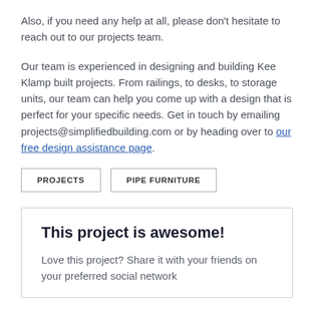Also, if you need any help at all, please don't hesitate to reach out to our projects team.
Our team is experienced in designing and building Kee Klamp built projects. From railings, to desks, to storage units, our team can help you come up with a design that is perfect for your specific needs. Get in touch by emailing projects@simplifiedbuilding.com or by heading over to our free design assistance page.
PROJECTS
PIPE FURNITURE
This project is awesome!
Love this project? Share it with your friends on your preferred social network